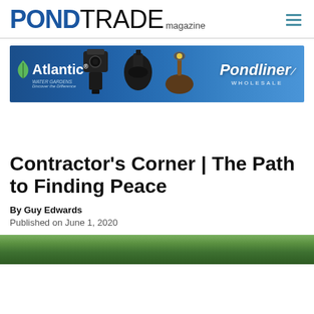PONDTRADE magazine
[Figure (photo): Atlantic Water Gardens / Pondliner Wholesale advertisement banner showing pond equipment including pumps and a spotlight against a blue background]
Contractor’s Corner | The Path to Finding Peace
By Guy Edwards
Published on June 1, 2020
[Figure (photo): Bottom portion of an outdoor garden/pond photograph visible at the bottom edge of the page]